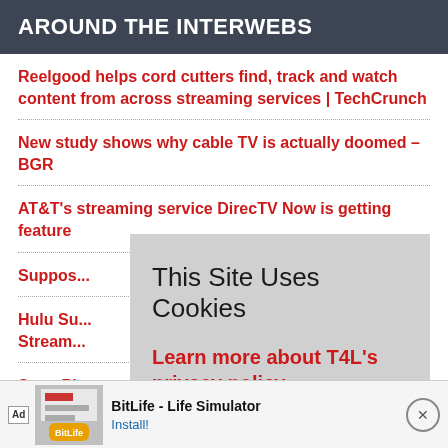AROUND THE INTERWEBS
Reelgood helps cord cutters find, track and watch content from across streaming services | TechCrunch
New study shows why cable TV is actually doomed – BGR
AT&T's streaming service DirecTV Now is getting...feature...
Suppo... cutters...
Hulu Su... Stream...
Sony Pl...
[Figure (screenshot): Cookie consent overlay popup with title 'This Site Uses Cookies', body text 'Learn more about T4L's privacy policy.' and a red ACCEPT button]
[Figure (screenshot): Ad banner at bottom: BitLife - Life Simulator with Install! link and close button]